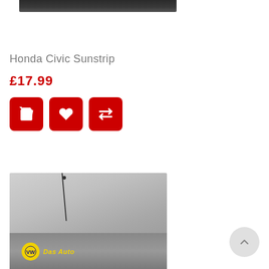[Figure (photo): Top portion of a product photo showing a dark car roofline, cropped at bottom]
Honda Civic Sunstrip
£17.99
[Figure (infographic): Three red rounded square buttons: shopping cart icon, heart/wishlist icon, and compare/arrows icon]
[Figure (photo): Bottom portion showing a car windshield with an antenna and a yellow VW Das Auto sticker]
[Figure (other): Scroll-to-top circular button with upward chevron arrow]